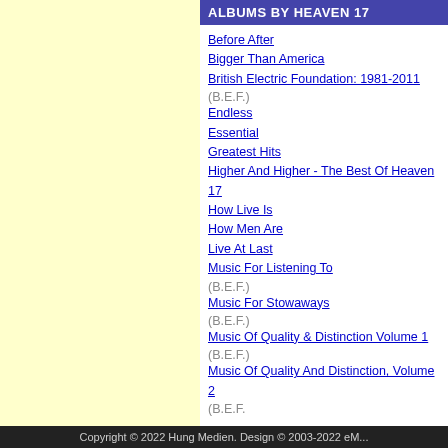ALBUMS BY HEAVEN 17
Before After
Bigger Than America
British Electric Foundation: 1981-2011 (B.E.F.)
Endless
Essential
Greatest Hits
Higher And Higher - The Best Of Heaven 17
How Live Is
How Men Are
Live At Last
Music For Listening To (B.E.F.)
Music For Stowaways (B.E.F.)
Music Of Quality & Distinction Volume 1 (B.E.F.)
Music Of Quality And Distinction, Volume 2 (B.E.F.)
Add an album
REVIEWS
Average points: 4.67 (Reviews: 3)
03.02.2012 11:14
remember
Member
****
Die zweite Zusammena... League und Heaven 17.
30.11.2012 12:58
southpaw
Member
*****
5 ★s for this great rendi...
24.04.2021 08:53
Kamala
Member
*****
Beinahe so wunderbar w...
Add a review
Copyright © 2022 Hung Medien. Design © 2003-2022 eM...